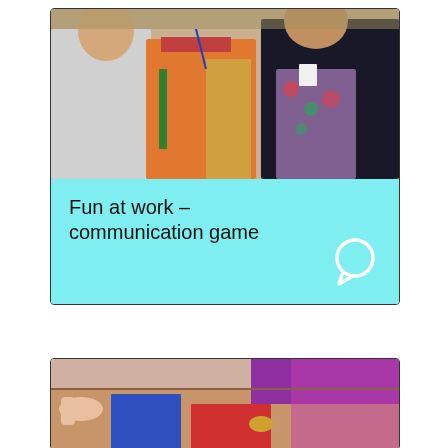[Figure (photo): Group of people standing together, one wearing a colorful sari with orange and green pattern, others in casual clothing, at what appears to be a workplace or event]
Fun at work – communication game
[Figure (photo): Hands working with colorful pieces in a cardboard box, with purple and red colored items visible]